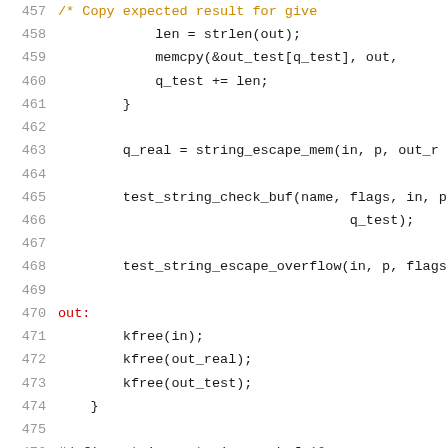[Figure (screenshot): Source code listing showing lines 457-478 of a C file with syntax highlighting. Lines include memory operations, function calls like string_escape_mem, test_string_check_buf, test_string_escape_overflow, kfree calls, and #define macros.]